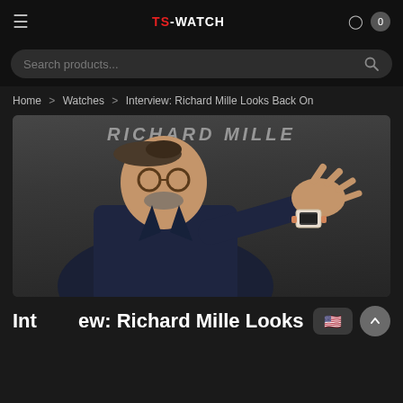TS-WATCH navigation bar with hamburger menu, logo, user icon, and cart
Search products...
Home > Watches > Interview: Richard Mille Looks Back On
[Figure (photo): Richard Mille (or a person wearing a Richard Mille watch) in a dark suit gesturing with his hand, wearing a Richard Mille skeletal watch with orange strap, in front of a RICHARD MILLE branded backdrop]
Interview: Richard Mille Looks Bac